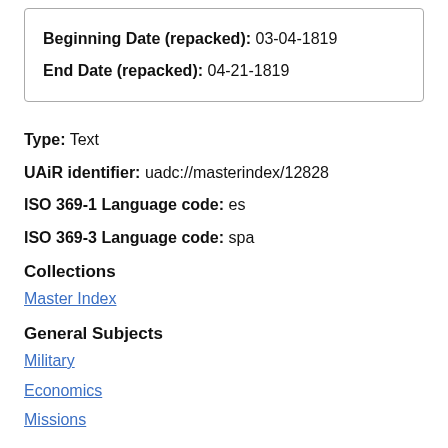| Beginning Date (repacked): | 03-04-1819 |
| End Date (repacked): | 04-21-1819 |
Type:  Text
UAiR identifier:  uadc://masterindex/12828
ISO 369-1 Language code:  es
ISO 369-3 Language code:  spa
Collections
Master Index
General Subjects
Military
Economics
Missions